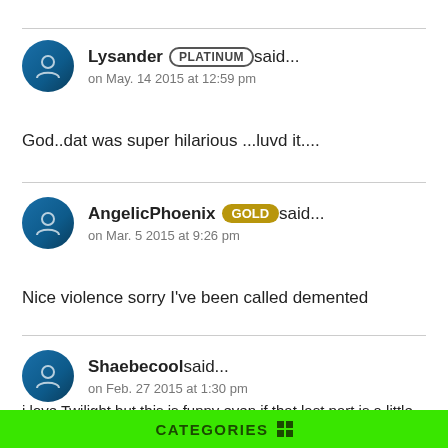Lysander PLATINUM said... on May. 14 2015 at 12:59 pm
God..dat was super hilarious ...luvd it....
AngelicPhoenix GOLD said... on Mar. 5 2015 at 9:26 pm
Nice violence sorry I've been called demented
Shaebecool said... on Feb. 27 2015 at 1:30 pm
i love Twilight but this is funny even if that last part is a little backwards XD "crashes into rock" *kay then* that got me so bad hahahahaha
CATEGORIES